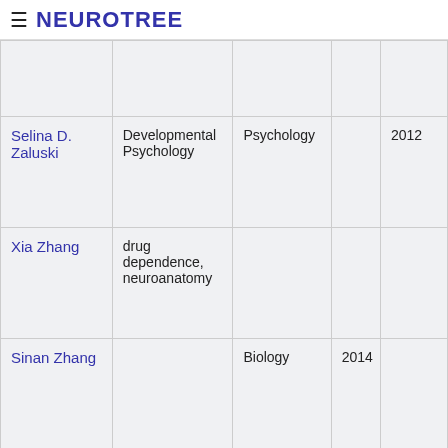≡ NEUROTREE
|  |  |  |  |  |
| --- | --- | --- | --- | --- |
|  |  |  |  |  |
| Selina D. Zaluski | Developmental Psychology | Psychology |  | 2012 |
| Xia Zhang | drug dependence, neuroanatomy |  |  |  |
| Sinan Zhang |  | Biology | 2014 |  |
Is someone missing from the tree? Register/sign in to make changes. Question? Ideas? Want to start a new tree? Contact admin at neurotree dot org - Report bug/error ©2005-2022 The Academic Family Tree - Data licensed for re-use with attribution to this site (CC-BY 3.0)